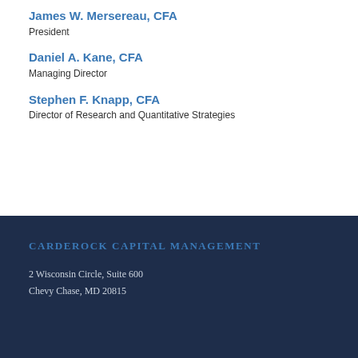James W. Mersereau, CFA
President
Daniel A. Kane, CFA
Managing Director
Stephen F. Knapp, CFA
Director of Research and Quantitative Strategies
CARDEROCK CAPITAL MANAGEMENT
2 Wisconsin Circle, Suite 600
Chevy Chase, MD 20815